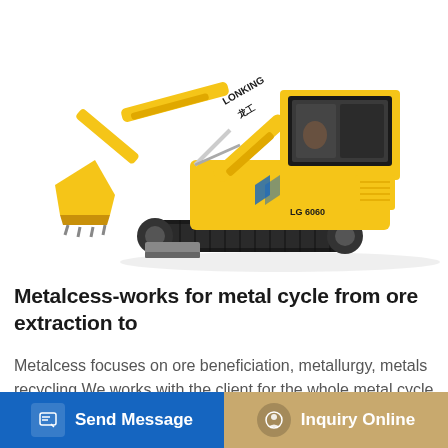[Figure (photo): Yellow Lonking LG6060 mini excavator on white background, showing the full machine with arm extended and bucket lowered]
Metalcess-works for metal cycle from ore extraction to
Metalcess focuses on ore beneficiation, metallurgy, metals recycling.We works with the client for the whole metal cycle from ore extraction to re...